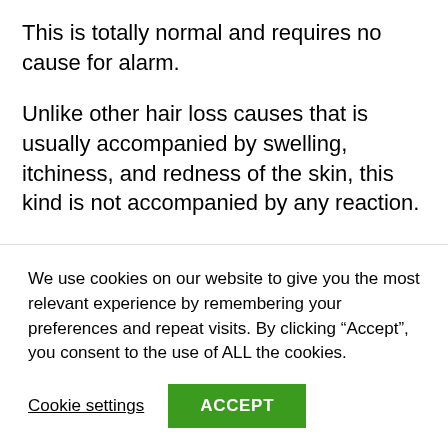This is totally normal and requires no cause for alarm.
Unlike other hair loss causes that is usually accompanied by swelling, itchiness, and redness of the skin, this kind is not accompanied by any reaction.
In the winter certain breeds of dogs grow a lot more fur than normal, this is an adaptive mechanism to help them cope with the extremely cold weather conditions.
We use cookies on our website to give you the most relevant experience by remembering your preferences and repeat visits. By clicking “Accept”, you consent to the use of ALL the cookies.
Cookie settings
ACCEPT